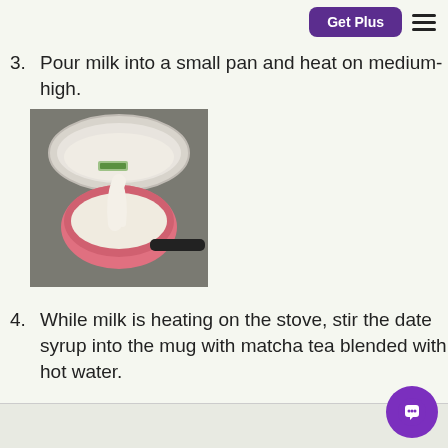Get Plus
3. Pour milk into a small pan and heat on medium-high.
[Figure (photo): Photo of milk being poured from a large bowl into a small pink saucepan on a stovetop.]
4. While milk is heating on the stove, stir the date syrup into the mug with matcha tea blended with hot water.